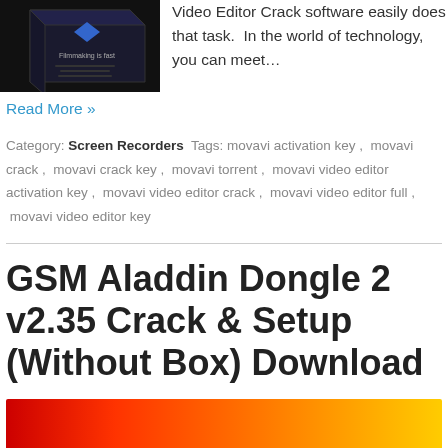[Figure (photo): Product box image - dark colored software box with text 'Filmmaking is fast']
Video Editor Crack software easily does that task.  In the world of technology, you can meet…
Read More »
Category: Screen Recorders  Tags: movavi activation key ,  movavi crack ,  movavi crack key ,  movavi torrent ,  movavi video editor activation key ,  movavi video editor crack ,  movavi video editor full ,  movavi video editor key
GSM Aladdin Dongle 2 v2.35 Crack & Setup (Without Box) Download
[Figure (illustration): Red to yellow gradient banner image at bottom of page]